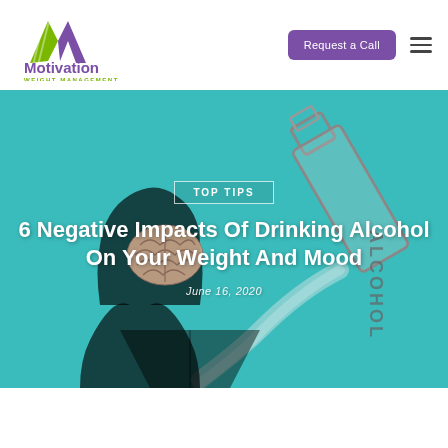[Figure (logo): Motivation Weight Management logo with stylized M in green and purple, text 'Motivation' in purple and 'WEIGHT MANAGEMENT' in green below]
Request a Call
[Figure (photo): Hero image showing a silhouette of a person's head in profile on a teal background with an alcohol bottle pouring liquid and a brain illustration inside the head silhouette]
TOP TIPS
6 Negative Impacts Of Drinking Alcohol On Your Weight And Mood
June 16, 2020